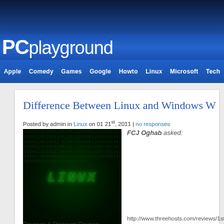[Figure (logo): PCplayground website header with blue gradient background]
PCplayground
Apple | Comedy | Games | Google | Howto | Linux | Microsoft | Tech
Difference Between Linux and Windows W
Posted by admin in Linux on 01 21st, 2011 | no responses
[Figure (photo): Dark matrix-style image with LINUX text glowing green]
FCJ Oghab asked:
http://www.threehosts.com/reviews/1st
Reviews & Discount Coupon